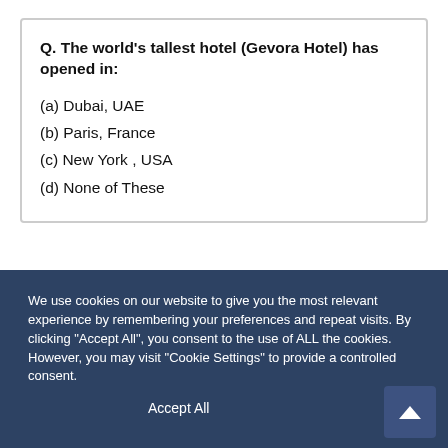Q. The world's tallest hotel (Gevora Hotel) has opened in:
(a) Dubai, UAE
(b) Paris, France
(c) New York , USA
(d) None of These
We use cookies on our website to give you the most relevant experience by remembering your preferences and repeat visits. By clicking "Accept All", you consent to the use of ALL the cookies. However, you may visit "Cookie Settings" to provide a controlled consent.
Accept All